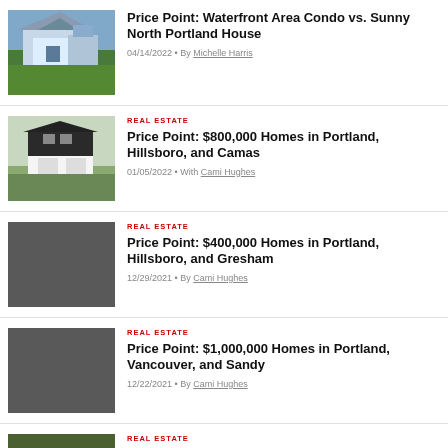[Figure (photo): Photo of a house with a porch and garden, waterfront area]
Price Point: Waterfront Area Condo vs. Sunny North Portland House
04/14/2022 • By Michelle Harris
REAL ESTATE
[Figure (photo): Photo of a modern two-story house with black and white exterior]
Price Point: $800,000 Homes in Portland, Hillsboro, and Camas
01/05/2022 • With Cami Hughes
REAL ESTATE
[Figure (photo): Dark gray placeholder image]
Price Point: $400,000 Homes in Portland, Hillsboro, and Gresham
12/29/2021 • By Cami Hughes
REAL ESTATE
[Figure (photo): Dark gray placeholder image]
Price Point: $1,000,000 Homes in Portland, Vancouver, and Sandy
12/22/2021 • By Cami Hughes
REAL ESTATE